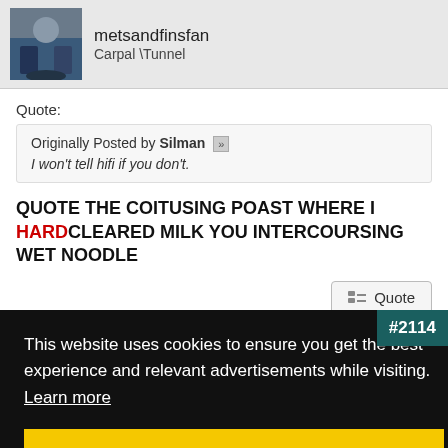metsandfinsfan
Carpal \Tunnel
Quote:
Originally Posted by Silman
I won't tell hifi if you don't.
QUOTE THE COITUSING POAST WHERE I HARDCLEARED MILK YOU INTERCOURSING WET NOODLE
Quote
This website uses cookies to ensure you get the best experience and relevant advertisements while visiting. Learn more
Got it!
#2114